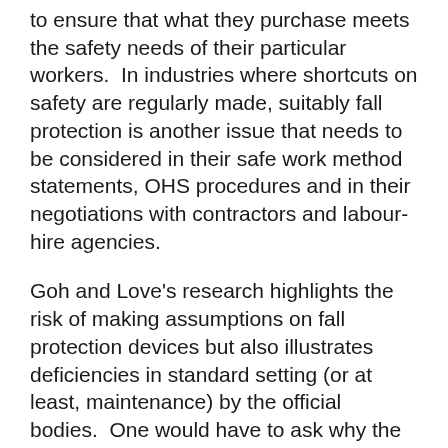to ensure that what they purchase meets the safety needs of their particular workers.  In industries where shortcuts on safety are regularly made, suitably fall protection is another issue that needs to be considered in their safe work method statements, OHS procedures and in their negotiations with contractors and labour-hire agencies.
Goh and Love's research highlights the risk of making assumptions on fall protection devices but also illustrates deficiencies in standard setting (or at least, maintenance) by the official bodies.  One would have to ask why the 100kg rating has existed so long in a time when workers are getting heavier.
So, to answer the title of this blog, yes it can, but there is the suspicion that unless the issue of heavy workers is spoken about in the safety context at work, someone, sometime will have